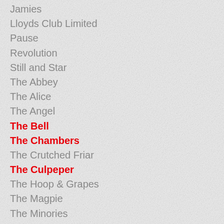Jamies
Lloyds Club Limited
Pause
Revolution
Still and Star
The Abbey
The Alice
The Angel
The Bell
The Chambers
The Crutched Friar
The Culpeper
The Hoop & Grapes
The Magpie
The Minories
The Peacock
The Three Lords
Three Tuns
White Horse